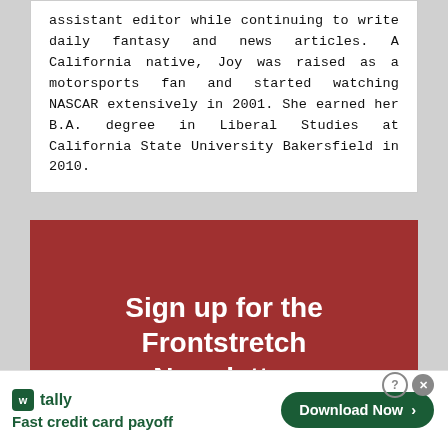assistant editor while continuing to write daily fantasy and news articles. A California native, Joy was raised as a motorsports fan and started watching NASCAR extensively in 2001. She earned her B.A. degree in Liberal Studies at California State University Bakersfield in 2010.
[Figure (other): Red newsletter signup banner with white bold text reading 'Sign up for the Frontstretch Newsletter' and subtitle 'A daily email update (Monday through']
[Figure (other): Advertisement banner for Tally app with green logo, text 'Fast credit card payoff' and a green 'Download Now' button with arrow]